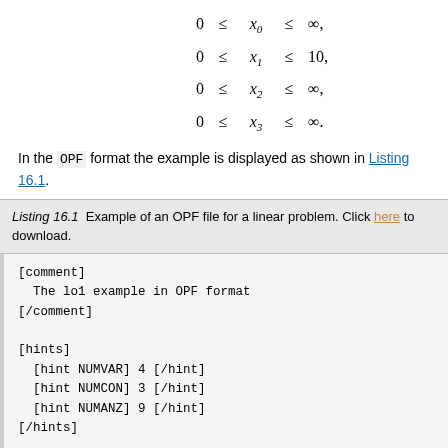In the OPF format the example is displayed as shown in Listing 16.1.
Listing 16.1  Example of an OPF file for a linear problem. Click here to download.
[comment]
  The lo1 example in OPF format
[/comment]

[hints]
  [hint NUMVAR] 4 [/hint]
  [hint NUMCON] 3 [/hint]
  [hint NUMANZ] 9 [/hint]
[/hints]

[variables disallow_new_variables]
  x1 x2 x3 x4
[/variables]